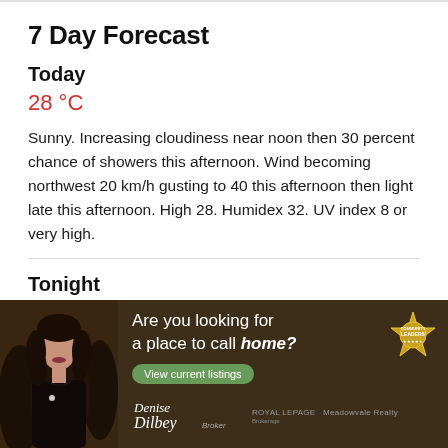7 Day Forecast
Today
28 °C
Sunny. Increasing cloudiness near noon then 30 percent chance of showers this afternoon. Wind becoming northwest 20 km/h gusting to 40 this afternoon then light late this afternoon. High 28. Humidex 32. UV index 8 or very high.
Tonight
16 °C
Partly cloudy. 30 percent chance of showers early this
[Figure (photo): Advertisement banner for Denise Dilbey Broker / Meadowvale Realty featuring a photo of a woman in black clothing, text reading 'Are you looking for a place to call home?' with a 'View current listings' button and a Community Leaders badge logo]